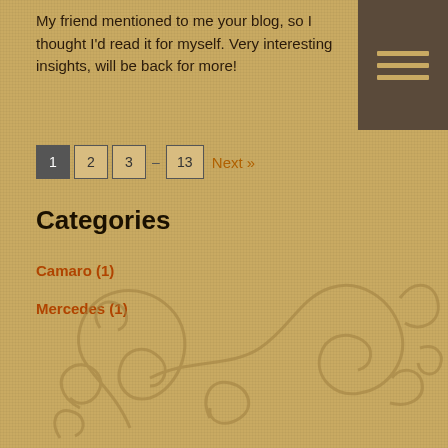My friend mentioned to me your blog, so I thought I'd read it for myself. Very interesting insights, will be back for more!
[Figure (other): Dark brown square with three horizontal lines representing a mobile menu icon]
1  2  3  …  13  Next »
Categories
Camaro (1)
Mercedes (1)
[Figure (illustration): Decorative ornamental flourish scrollwork pattern in muted brown tones at the bottom of the page]